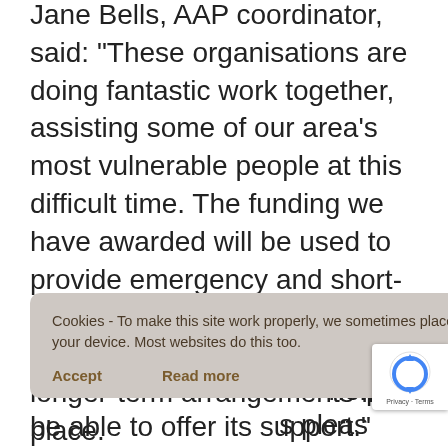Jane Bells, AAP coordinator, said: "These organisations are doing fantastic work together, assisting some of our area's most vulnerable people at this difficult time. The funding we have awarded will be used to provide emergency and short-term solutions for people who are struggling, until they can put longer-term arrangements in place.
[Figure (other): Cookie consent popup overlay with text: 'Cookies - To make this site work properly, we sometimes place small data files called cookies on your device. Most websites do this too.' with Accept and Read more buttons.]
[Figure (other): Google reCAPTCHA badge in bottom-right corner showing reCAPTCHA logo and 'Privacy · Terms' text.]
be able to offer its support."